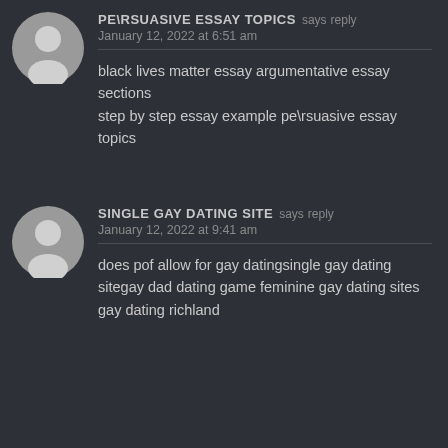PE\RSUASIVE ESSAY TOPICS says: January 12, 2022 at 6:51 am
black lives matter essay argumentative essay sections step by step essay example pe\rsuasive essay topics
SINGLE GAY DATING SITE says: January 12, 2022 at 9:41 am
does pof allow for gay datingsingle gay dating sitegay dad dating game feminine gay dating sites gay dating richland